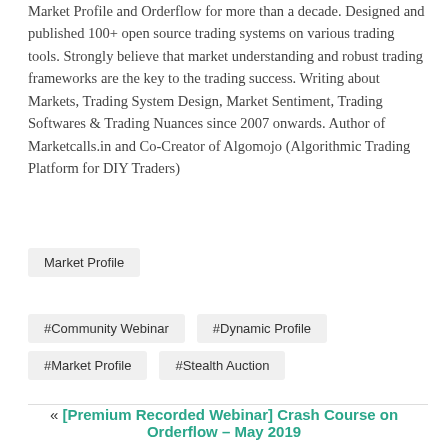Market Profile and Orderflow for more than a decade. Designed and published 100+ open source trading systems on various trading tools. Strongly believe that market understanding and robust trading frameworks are the key to the trading success. Writing about Markets, Trading System Design, Market Sentiment, Trading Softwares & Trading Nuances since 2007 onwards. Author of Marketcalls.in and Co-Creator of Algomojo (Algorithmic Trading Platform for DIY Traders)
Market Profile
#Community Webinar
#Dynamic Profile
#Market Profile
#Stealth Auction
« [Premium Recorded Webinar] Crash Course on Orderflow – May 2019